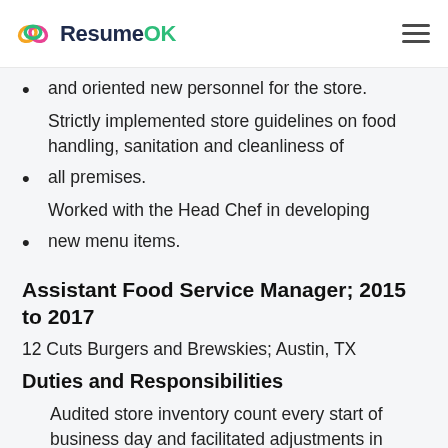ResumeOK
and oriented new personnel for the store.
Strictly implemented store guidelines on food handling, sanitation and cleanliness of all premises.
Worked with the Head Chef in developing new menu items.
Assistant Food Service Manager; 2015 to 2017
12 Cuts Burgers and Brewskies; Austin, TX
Duties and Responsibilities
Audited store inventory count every start of business day and facilitated adjustments in